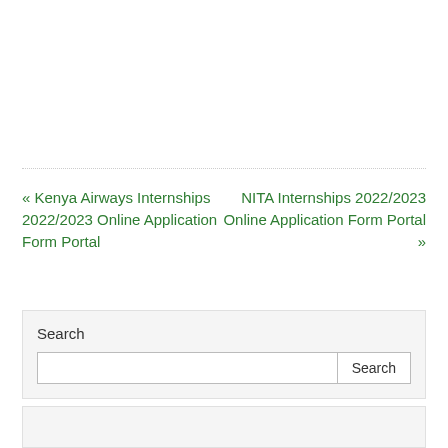« Kenya Airways Internships 2022/2023 Online Application Form Portal
NITA Internships 2022/2023 Online Application Form Portal »
Search